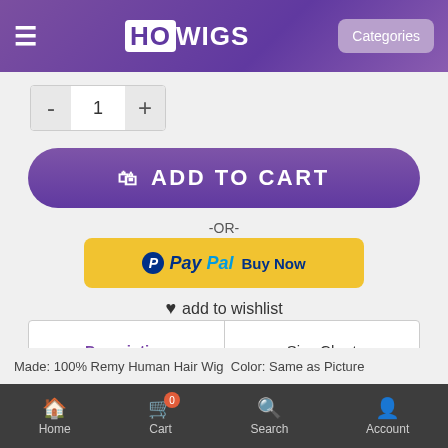HOWIGS — Categories
- 1 +
ADD TO CART
-OR-
[Figure (other): PayPal Buy Now button]
add to wishlist
| Description | Size Chart |
| --- | --- |
| How To Use | Delivery |
22 Review(s) | Add Your Review
[Figure (other): Social share buttons: Facebook, Pinterest, Twitter, Star/Favorite, Mail, Plus]
Home  Cart (0)  Search  Account
Made: 100% Remy Human Hair Wig
Color: Same as Picture